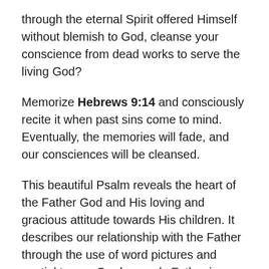through the eternal Spirit offered Himself without blemish to God, cleanse your conscience from dead works to serve the living God?
Memorize Hebrews 9:14 and consciously recite it when past sins come to mind. Eventually, the memories will fade, and our consciences will be cleansed.
This beautiful Psalm reveals the heart of the Father God and His loving and gracious attitude towards His children. It describes our relationship with the Father through the use of word pictures and spatial terms. Our heavenly Father is compassionate and merciful, slow to get angry and filled with unfailing love. He does not accuse us nor does He punish us. He does not deal harshly with us, as we deserve. His unfailing love for us